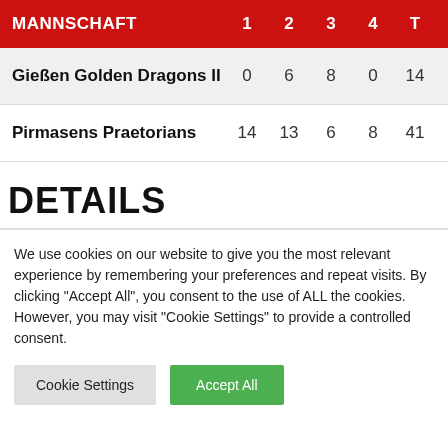| MANNSCHAFT | 1 | 2 | 3 | 4 | T |
| --- | --- | --- | --- | --- | --- |
| Gießen Golden Dragons II | 0 | 6 | 8 | 0 | 14 |
| Pirmasens Praetorians | 14 | 13 | 6 | 8 | 41 |
DETAILS
We use cookies on our website to give you the most relevant experience by remembering your preferences and repeat visits. By clicking "Accept All", you consent to the use of ALL the cookies. However, you may visit "Cookie Settings" to provide a controlled consent.
Cookie Settings | Accept All